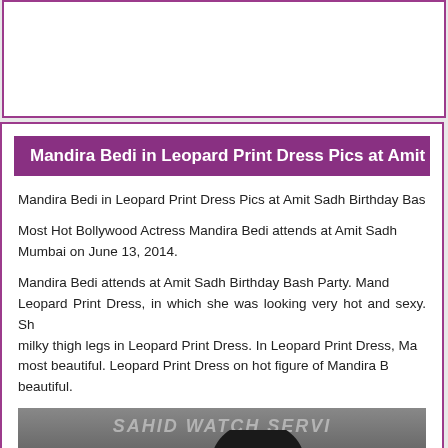Mandira Bedi in Leopard Print Dress Pics at Amit S
Mandira Bedi in Leopard Print Dress Pics at Amit Sadh Birthday Bas
Most Hot Bollywood Actress Mandira Bedi attends at Amit Sadh Mumbai on June 13, 2014.
Mandira Bedi attends at Amit Sadh Birthday Bash Party. Mand Leopard Print Dress, in which she was looking very hot and sexy. Sh milky thigh legs in Leopard Print Dress. In Leopard Print Dress, Ma most beautiful. Leopard Print Dress on hot figure of Mandira B beautiful.
[Figure (photo): Photo of Mandira Bedi at Amit Sadh Birthday Bash party, with navigation arrows on left and right sides]